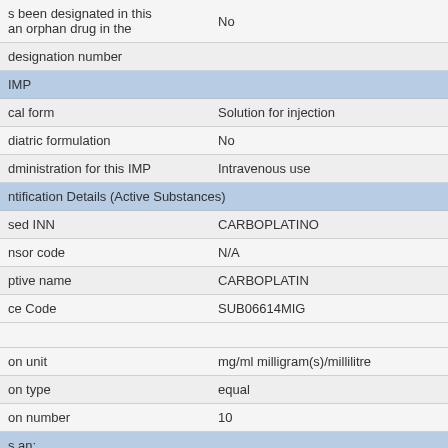| Field | Value |
| --- | --- |
| s been designated in this an orphan drug in the | No |
| designation number |  |
| IMP |  |
| cal form | Solution for injection |
| diatric formulation | No |
| dministration for this IMP | Intravenous use |
| ntification Details (Active Substances) |  |
| sed INN | CARBOPLATINO |
| nsor code | N/A |
| ptive name | CARBOPLATIN |
| ce Code | SUB06614MIG |
|  |  |
| on unit | mg/ml milligram(s)/millilitre |
| on type | equal |
| on number | 10 |
| s an: |  |
| of chemical origin | Yes |